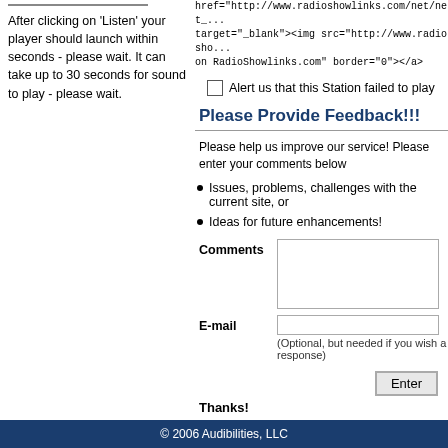After clicking on 'Listen' your player should launch within seconds - please wait. It can take up to 30 seconds for sound to play - please wait.
href="http://www.radioshowlinks.com/net/net_... target="_blank"><img src="http://www.radiosho... on RadioShowlinks.com" border="0"></a>
Alert us that this Station failed to play
Please Provide Feedback!!!
Please help us improve our service! Please enter your comments below
Issues, problems, challenges with the current site, or
Ideas for future enhancements!
Comments
E-mail
(Optional, but needed if you wish a response)
Enter
Thanks!
© 2006 Audibilities, LLC